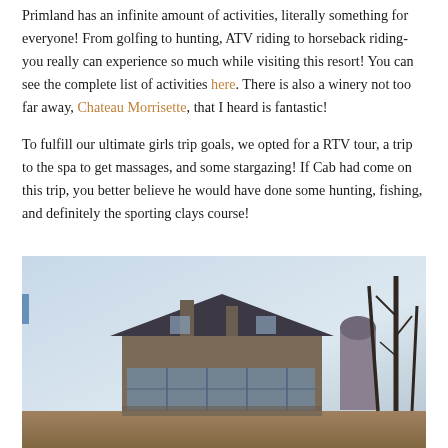Primland has an infinite amount of activities, literally something for everyone! From golfing to hunting, ATV riding to horseback riding- you really can experience so much while visiting this resort! You can see the complete list of activities here. There is also a winery not too far away, Chateau Morrisette, that I heard is fantastic!

To fulfill our ultimate girls trip goals, we opted for a RTV tour, a trip to the spa to get massages, and some stargazing! If Cab had come on this trip, you better believe he would have done some hunting, fishing, and definitely the sporting clays course!
[Figure (photo): Exterior photo of a large stone and wood lodge-style building (Primland resort) viewed from a distance. The building has a steeply pitched dark roof with chimneys, large windows across the lower floors, and sits on elevated ground. Bare winter trees are visible on the right side, and a cylindrical silo or observatory dome appears behind the building. The sky is overcast and pale blue-grey.]